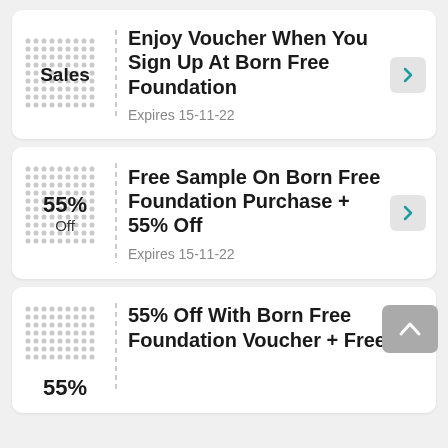Sales — Enjoy Voucher When You Sign Up At Born Free Foundation — Expires 15-11-22
55% Off — Free Sample On Born Free Foundation Purchase + 55% Off — Expires 15-11-22
55% Off — 55% Off With Born Free Foundation Voucher + Free…